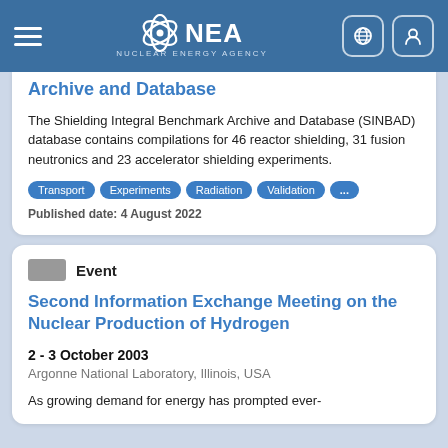NEA Nuclear Energy Agency
Archive and Database
The Shielding Integral Benchmark Archive and Database (SINBAD) database contains compilations for 46 reactor shielding, 31 fusion neutronics and 23 accelerator shielding experiments.
Transport
Experiments
Radiation
Validation
...
Published date: 4 August 2022
Event
Second Information Exchange Meeting on the Nuclear Production of Hydrogen
2 - 3 October 2003
Argonne National Laboratory, Illinois, USA
As growing demand for energy has prompted ever-